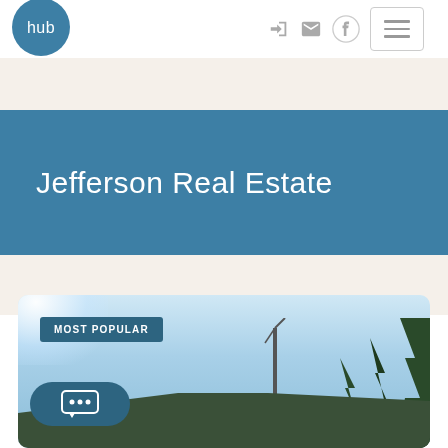[Figure (logo): Hub circular logo, teal blue circle with 'hub' text in white]
Jefferson Real Estate
[Figure (photo): Outdoor photo showing blue sky with trees silhouetted on right side, a crane/tower structure, and a dark green roof at the bottom. MOST POPULAR badge in top-left corner and a chat bubble button in bottom-left.]